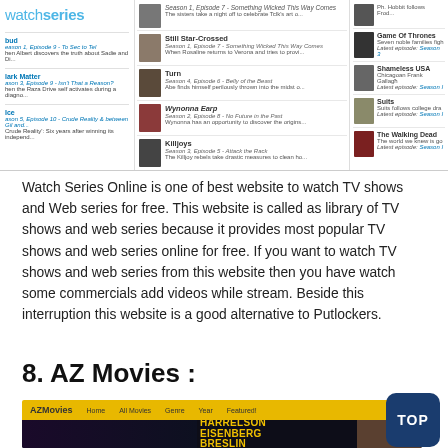[Figure (screenshot): Screenshot of WatchSeries website showing TV show listings in a three-column layout with thumbnails, show titles, episode info, and descriptions. Left panel shows the WatchSeries logo and show entries. Center panel shows shows like Still Star-Crossed, Turn, Wynonna Earp, Killjoys. Right panel shows Game of Thrones, Shameless USA, Suits, The Walking Dead.]
Watch Series Online is one of best website to watch TV shows and Web series for free. This website is called as library of TV shows and web series because it provides most popular TV shows and web series online for free. If you want to watch TV shows and web series from this website then you have watch some commercials add videos while stream. Beside this interruption this website is a good alternative to Putlockers.
8. AZ Movies :
[Figure (screenshot): Screenshot of AZMovies website with yellow navigation bar showing logo and menu items (Home, All Movies, Genre, Year, Featured!), and a dark hero banner featuring text 'HARRELSON EISENBERG BRESLIN' in yellow letters against a dark background.]